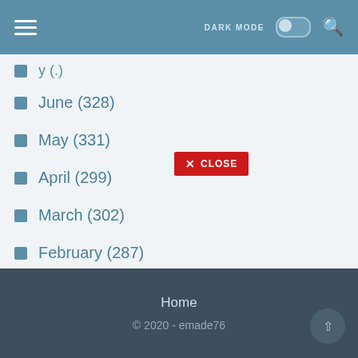DARK MODE [toggle] [search]
June (328)
May (331)
April (299)
March (302)
February (287)
January (44)
[Figure (screenshot): Red CLOSE button overlay with X icon]
Home
© 2020 - emade76